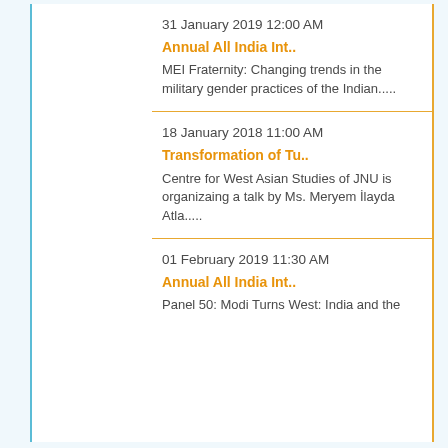31 January 2019 12:00 AM
Annual All India Int..
MEI Fraternity: Changing trends in the military gender practices of the Indian.....
18 January 2018 11:00 AM
Transformation of Tu..
Centre for West Asian Studies of JNU is organizaing a talk by Ms. Meryem İlayda Atla.....
01 February 2019 11:30 AM
Annual All India Int..
Panel 50: Modi Turns West: India and the